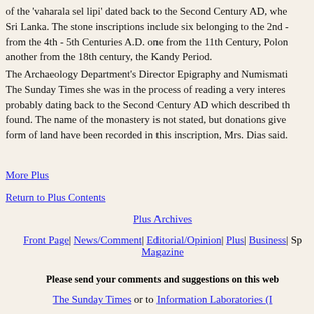of the 'vaharala sel lipi' dated back to the Second Century AD, where Sri Lanka. The stone inscriptions include six belonging to the 2nd - from the 4th - 5th Centuries A.D. one from the 11th Century, Polon another from the 18th century, the Kandy Period.
The Archaeology Department's Director Epigraphy and Numismati The Sunday Times she was in the process of reading a very interest probably dating back to the Second Century AD which described th found. The name of the monastery is not stated, but donations give form of land have been recorded in this inscription, Mrs. Dias said.
More Plus
Return to Plus Contents
Plus Archives
Front Page| News/Comment| Editorial/Opinion| Plus| Business| Sp Magazine
Please send your comments and suggestions on this web
The Sunday Times or to Information Laboratories (I